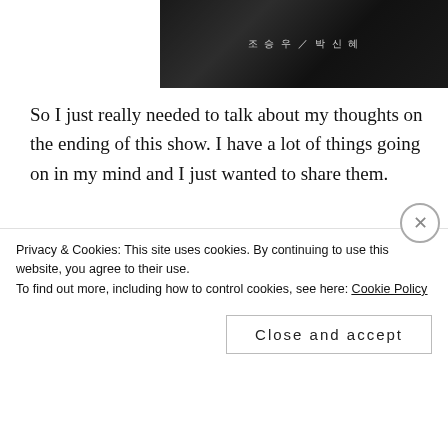[Figure (photo): Dark background image with Chinese/Korean text characters in light gray]
So I just really needed to talk about my thoughts on the ending of this show. I have a lot of things going on in my mind and I just wanted to share them.
Is Seo Hae real or is Tae Sul hallucinating her?
[Figure (photo): Two faces close-up against a dark teal/blue background - a woman on the left and a man on the right, both staring intensely]
Privacy & Cookies: This site uses cookies. By continuing to use this website, you agree to their use.
To find out more, including how to control cookies, see here: Cookie Policy
Close and accept